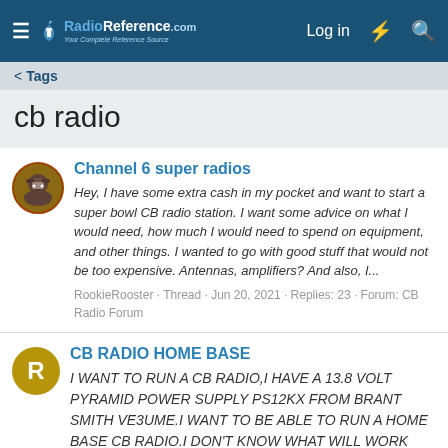RadioReference.com — Log in
< Tags
cb radio
Channel 6 super radios
Hey, I have some extra cash in my pocket and want to start a super bowl CB radio station. I want some advice on what I would need, how much I would need to spend on equipment, and other things. I wanted to go with good stuff that would not be too expensive. Antennas, amplifiers? And also, I...
RookieRooster · Thread · Jun 20, 2021 · Replies: 23 · Forum: CB Radio Forum
CB RADIO HOME BASE
I WANT TO RUN A CB RADIO,I HAVE A 13.8 VOLT PYRAMID POWER SUPPLY PS12KX FROM BRANT SMITH VE3UME.I WANT TO BE ABLE TO RUN A HOME BASE CB RADIO.I DON'T KNOW WHAT WILL WORK FOR A CB RADIO FOR SSB...RUNNING A TRAM NO GROUND PLANE CB ANTENNA...REALISTIC TRC 465 OR A UNIDEN GRANT LT